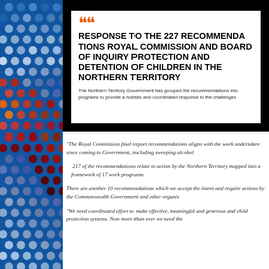[Figure (illustration): Left sidebar with blue background and colourful dot pattern (Indigenous art style circles in blue, white, red, orange on dark blue background)]
RESPONSE TO THE 227 RECOMMENDATIONS ROYAL COMMISSION AND BOARD OF INQUIRY PROTECTION AND DETENTION OF CHILDREN IN THE NORTHERN TERRITORY
The Northern Territory Government has grouped the recommendations into programs to provide a holistic and coordinated response to the challenges
“The Royal Commission final report recommendations aligns with the work undertaken since coming to Government, including sweeping alcoho
217 of the recommendations relate to action by the Northern Territory mapped into a framework of 17 work programs.
There are another 10 recommendations which we accept the intent and require actions by the Commonwealth Government and other organi
“We need coordinated effort to make effective, meaningful and gene and child protection systems. Now more than ever we need the